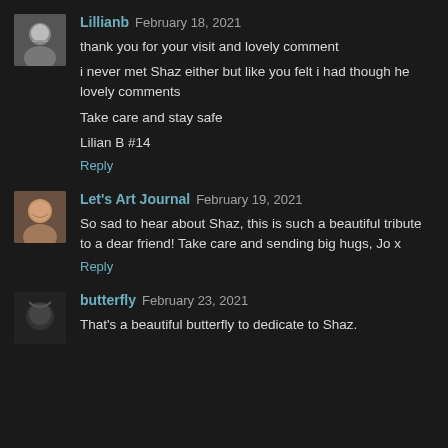[Figure (photo): Avatar photo of Lillianb, older woman with glasses]
Lillianb February 18, 2021
thank you for your visit and lovely comment

i never met Shaz either but like you felt i had though he lovely comments

Take care and stay safe

Lilian B #14
Reply
[Figure (photo): Avatar photo of Let's Art Journal, smiling woman]
Let's Art Journal February 19, 2021
So sad to hear about Shaz, this is such a beautiful tribute to a dear friend! Take care and sending big hugs, Jo x
Reply
[Figure (photo): Avatar photo of butterfly, partial face]
butterfly February 23, 2021
That's a beautiful butterfly to dedicate to Shaz.